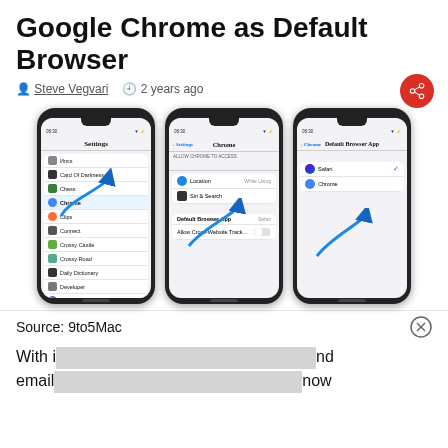Google Chrome as Default Browser
Steve Vegvari  2 years ago
[Figure (screenshot): Three iPhone screenshots showing steps to set Google Chrome as default browser in iOS Settings]
Source: 9to5Mac
With i... nd email ... now